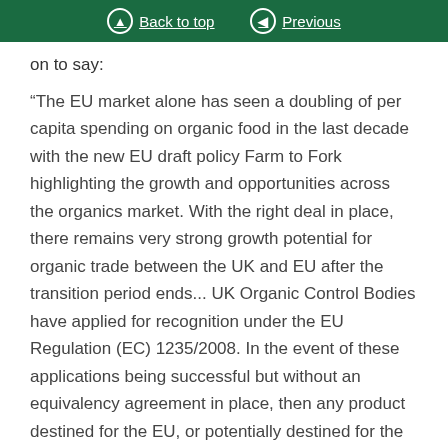Back to top   Previous
on to say:
“The EU market alone has seen a doubling of per capita spending on organic food in the last decade with the new EU draft policy Farm to Fork highlighting the growth and opportunities across the organics market. With the right deal in place, there remains very strong growth potential for organic trade between the UK and EU after the transition period ends... UK Organic Control Bodies have applied for recognition under the EU Regulation (EC) 1235/2008. In the event of these applications being successful but without an equivalency agreement in place, then any product destined for the EU, or potentially destined for the EU, would need to comply with Regulation (EU) 2018/848 and